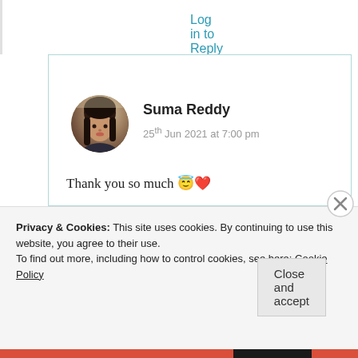Log in to Reply
Suma Reddy
25th Jun 2021 at 7:00 pm
Thank you so much 😇❤️
★ Like
Log in to Reply
Privacy & Cookies: This site uses cookies. By continuing to use this website, you agree to their use.
To find out more, including how to control cookies, see here: Cookie Policy
Close and accept